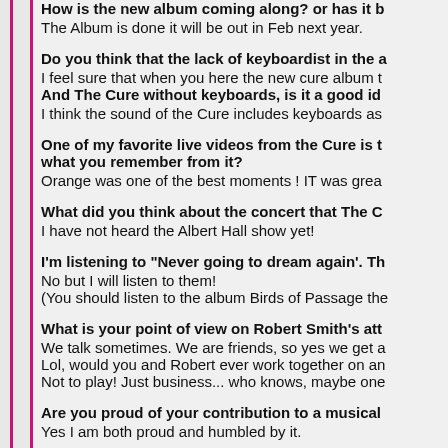How is the new album coming along? or has it b...
The Album is done it will be out in Feb next year.
Do you think that the lack of keyboardist in the a...
I feel sure that when you here the new cure album t...
And The Cure without keyboards, is it a good id...
I think the sound of the Cure includes keyboards as...
One of my favorite live videos from the Cure is t... what you remember from it?
Orange was one of the best moments ! IT was grea...
What did you think about the concert that The C...
I have not heard the Albert Hall show yet!
I'm listening to "Never going to dream again'. Th...
No but I will listen to them!
(You should listen to the album Birds of Passage the...
What is your point of view on Robert Smith's att...
We talk sometimes. We are friends, so yes we get a...
Lol, would you and Robert ever work together on an...
Not to play! Just business... who knows, maybe one...
Are you proud of your contribution to a musical...
Yes I am both proud and humbled by it.